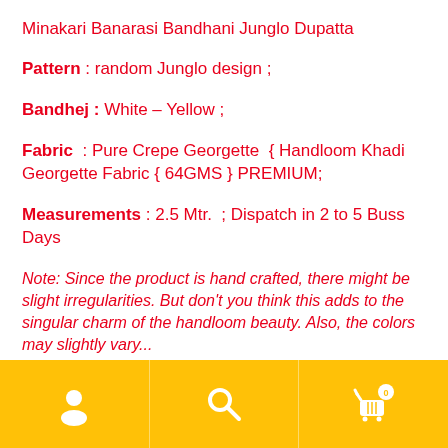Minakari Banarasi Bandhani Junglo Dupatta
Pattern : random Junglo design ;
Bandhej : White – Yellow ;
Fabric : Pure Crepe Georgette { Handloom Khadi Georgette Fabric { 64GMS } PREMIUM;
Measurements : 2.5 Mtr. ; Dispatch in 2 to 5 Buss Days
Note: Since the product is hand crafted, there might be slight irregularities. But don't you think this adds to the singular charm of the handloom beauty. Also, the colors may slightly vary...